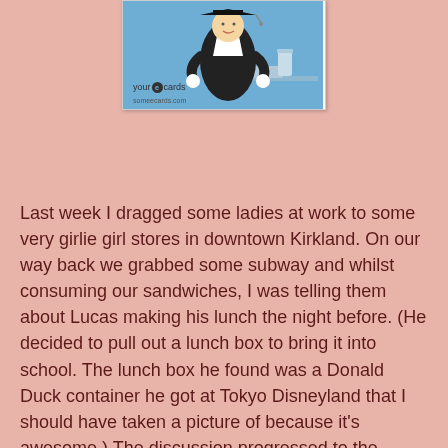[Figure (illustration): A someecards.com e-card image showing a cartoon figure (appearing to be wearing a graduation gown) seated at a desk or table with a glass, on a blue background. The someecards logo is visible in the lower left.]
Last week I dragged some ladies at work to some very girlie girl stores in downtown Kirkland.  On our way back we grabbed some subway and whilst consuming our sandwiches, I was telling them about Lucas making his lunch the night before.  (He decided to pull out a lunch box to bring it into school.  The lunch box he found was a Donald Duck container he got at Tokyo Disneyland that I should have taken a picture of because it's awesome.) The discussion progressed to the lineage of Donald, Scrooge, and Huey, Duey and Louie.  I thought it was a fabulous conversation, but by the time I started breaking out the Mallard family tree, I had completely lost Christy.  It happens.